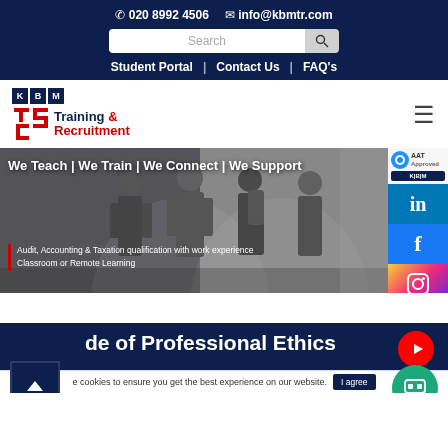020 8992 4506  info@kbmtr.com
Student Portal | Contact Us | FAQ's
[Figure (logo): KBM Training & Recruitment logo with red letters and dark blue boxes]
We Teach | We Train | We Connect | We Support
Audit, Accounting & Taxation qualification with work experience
Classroom or Remote Learning
de of Professional Ethics
AAT
e cookies to ensure you get the best experience on our website. I agree